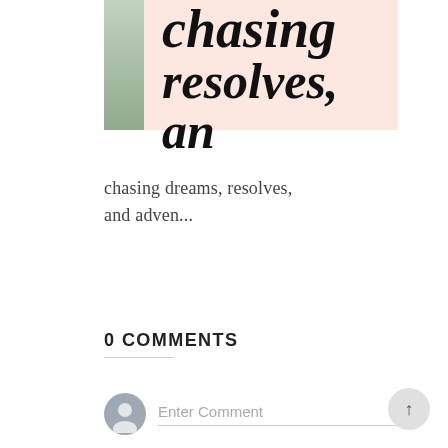[Figure (illustration): Blog post thumbnail image: a photo on the left partially visible with green/plant background, and a pink/salmon background on the right with handwritten-style script text reading 'chasing resolves, an' (truncated)]
chasing dreams, resolves, and adven...
0 COMMENTS
Enter Comment